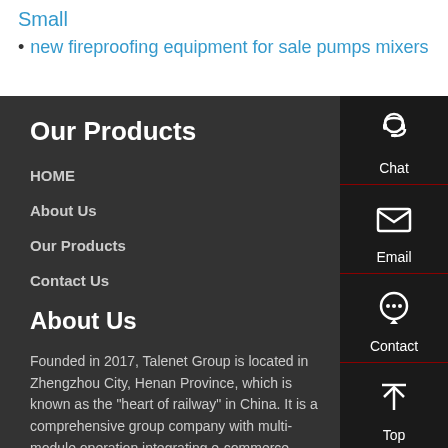Small
new fireproofing equipment for sale pumps mixers
Our Products
HOME
About Us
Our Products
Contact Us
About Us
Founded in 2017, Talenet Group is located in Zhengzhou City, Henan Province, which is known as the "heart of railway" in China. It is a comprehensive group company with multi-module operation integrating e-commerce operation,
[Figure (illustration): Sidebar contact panel with icons: Chat (headset icon), Email (envelope icon), Contact (speech bubble icon), Top (up arrow icon)]